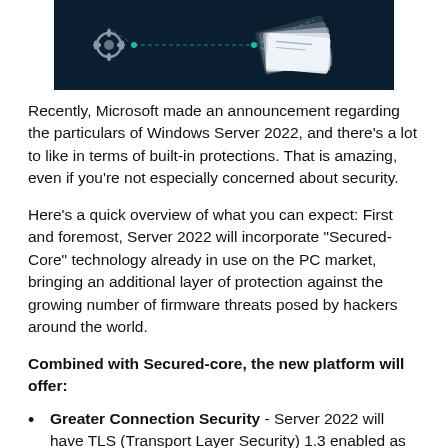[Figure (illustration): Dark background image with glowing gear icon on the left and a white/silver layered card or chip shape on the right, with teal/cyan network lines connecting them, suggesting cybersecurity technology.]
Recently, Microsoft made an announcement regarding the particulars of Windows Server 2022, and there's a lot to like in terms of built-in protections. That is amazing, even if you're not especially concerned about security.
Here's a quick overview of what you can expect: First and foremost, Server 2022 will incorporate "Secured-Core" technology already in use on the PC market, bringing an additional layer of protection against the growing number of firmware threats posed by hackers around the world.
Combined with Secured-core, the new platform will offer:
Greater Connection Security - Server 2022 will have TLS (Transport Layer Security) 1.3 enabled as the default, which eliminates